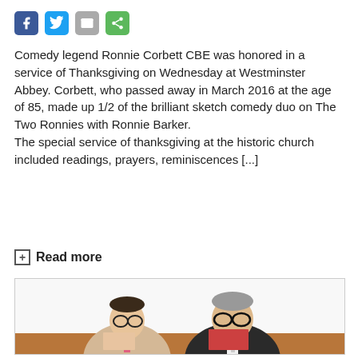[Figure (infographic): Social media share buttons: Facebook (blue), Twitter (blue), Email (grey), Share (green)]
Comedy legend Ronnie Corbett CBE was honored in a service of Thanksgiving on Wednesday at Westminster Abbey. Corbett, who passed away in March 2016 at the age of 85, made up 1/2 of the brilliant sketch comedy duo on The Two Ronnies with Ronnie Barker.
The special service of thanksgiving at the historic church included readings, prayers, reminiscences [...]
+ Read more
[Figure (photo): Photo of two men (Ronnie Corbett and Ronnie Barker) sitting at a table, both holding red papers/scripts and smiling. Left man wears a beige suit with pink tie, right man wears a dark pinstripe suit.]